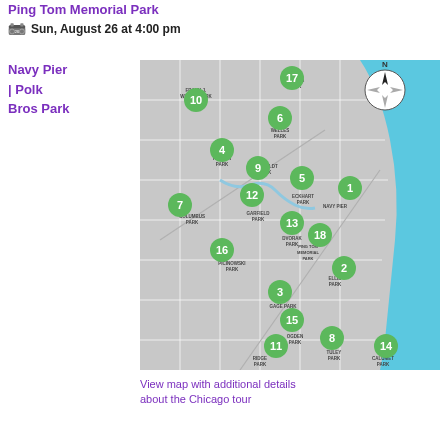Ping Tom Memorial Park
Sun, August 26 at 4:00 pm
Navy Pier | Polk Bros Park
[Figure (map): Map of Chicago showing numbered green circle markers at various park locations: 1-Navy Pier, 2-Ellis Park, 3-Gage Park, 4-Kelvyn Park, 5-Eckhart Park, 6-Welles Park, 7-Columbus Park, 8-Tuley Park, 9-Humboldt Park, 10-Frank J. Wilson Park, 11-Ridge Park, 12-Garfield Park, 13-Dvorak Park, 14-Calumet Park, 15-Ogden Park, 16-Picinowski Park, 17-Loyola Park, 18-Ping Tom Memorial Park. Lake Michigan shown in blue on the right. North compass rose in upper right.]
View map with additional details about the Chicago tour